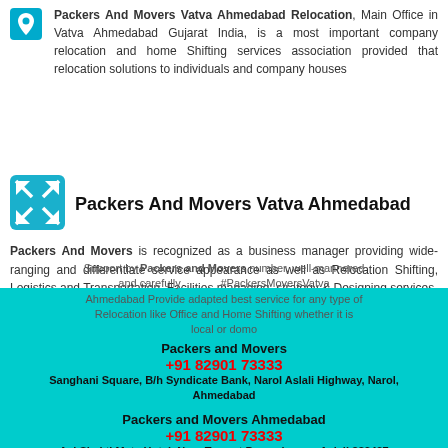Packers And Movers Vatva Ahmedabad Relocation, Main Office in Vatva Ahmedabad Gujarat India, is a most important company relocation and home Shifting services association provided that relocation solutions to individuals and company houses
Packers And Movers Vatva Ahmedabad
Packers And Movers is recognized as a business manager providing wide-ranging and differentiate service appearance as well as Relocation Shifting, Logistics and Transportation, Facilities managing, strategy & Designing services.
Office and Home Shifting
Support by Packers and Movers number, well-mannered and carefully #PackersMoversVatva Ahmedabad Provide adapted best service for any type of Relocation like Office and Home Shifting whether it is local or domo
Packers and Movers
+91 82901 73333
Sanghani Square, B/h Syndicate Bank, Narol Aslali Highway, Narol, Ahmedabad
Packers and Movers Ahmedabad
+91 82901 73333
Aai Shakti Mata Hotel, Near Torrent Power house, Aslali 382427 Ahmedabad